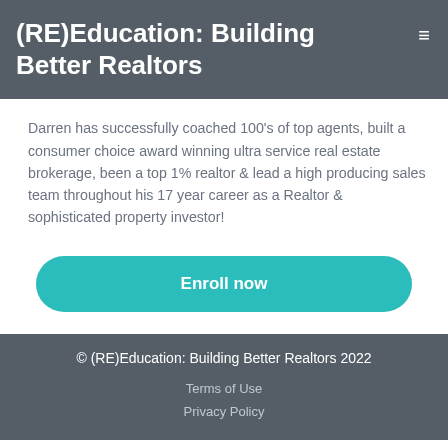(RE)Education: Building Better Realtors
Darren has successfully coached 100's of top agents, built a consumer choice award winning ultra service real estate brokerage, been a top 1% realtor & lead a high producing sales team throughout his 17 year career as a Realtor & sophisticated property investor!
[Figure (other): Teal rounded rectangle button labeled 'Enroll now']
© (RE)Education: Building Better Realtors 2022
Terms of Use
Privacy Policy